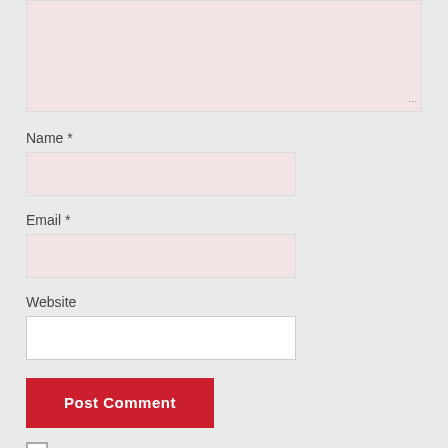[Figure (screenshot): Comment textarea input field with pinkish background and resize handle at bottom-right corner]
Name *
[Figure (screenshot): Name input field with pinkish background]
Email *
[Figure (screenshot): Email input field with pinkish background]
Website
[Figure (screenshot): Website input field with white background]
Post Comment
Notify me of new comments via email.